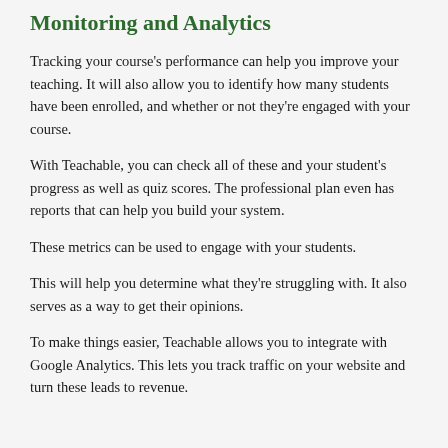Monitoring and Analytics
Tracking your course's performance can help you improve your teaching. It will also allow you to identify how many students have been enrolled, and whether or not they're engaged with your course.
With Teachable, you can check all of these and your student's progress as well as quiz scores. The professional plan even has reports that can help you build your system.
These metrics can be used to engage with your students.
This will help you determine what they're struggling with. It also serves as a way to get their opinions.
To make things easier, Teachable allows you to integrate with Google Analytics. This lets you track traffic on your website and turn these leads to revenue.